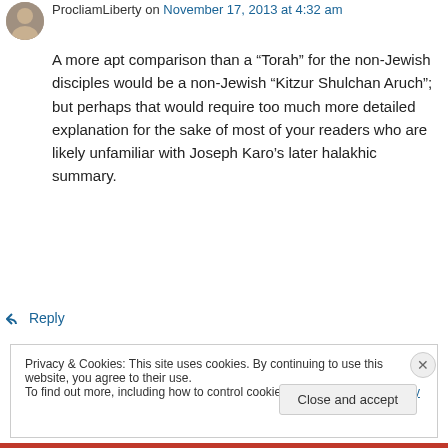[Figure (illustration): Small circular avatar photo of a person]
ProcliamLiberty on November 17, 2013 at 4:32 am
A more apt comparison than a “Torah” for the non-Jewish disciples would be a non-Jewish “Kitzur Shulchan Aruch”; but perhaps that would require too much more detailed explanation for the sake of most of your readers who are likely unfamiliar with Joseph Karo’s later halakhic summary.
↳ Reply
Privacy & Cookies: This site uses cookies. By continuing to use this website, you agree to their use.
To find out more, including how to control cookies, see here: Cookie Policy
Close and accept